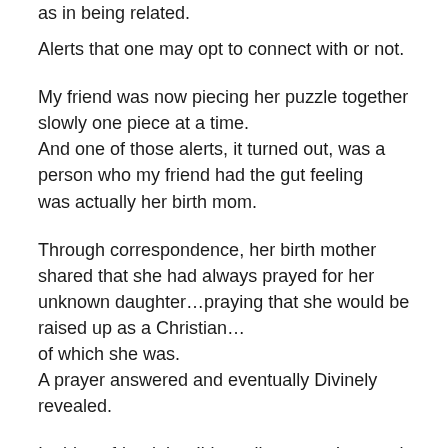as in being related.
Alerts that one may opt to connect with or not.
My friend was now piecing her puzzle together slowly one piece at a time.
And one of those alerts, it turned out, was a person who my friend had the gut feeling
was actually her birth mom.
Through correspondence, her birth mother shared that she had always prayed for her
unknown daughter…praying that she would be raised up as a Christian…
of which she was.
A prayer answered and eventually Divinely revealed.
I told my friend that I'd email soon as I wanted to talk further about all of this…